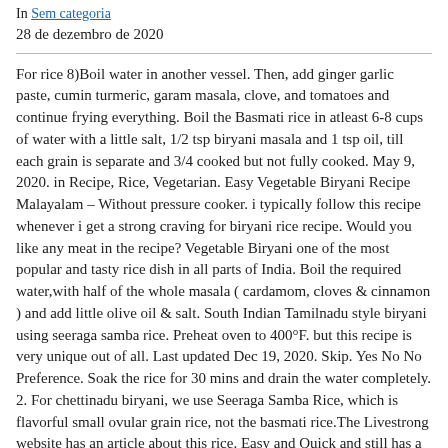In Sem categoria
28 de dezembro de 2020
For rice 8)Boil water in another vessel. Then, add ginger garlic paste, cumin turmeric, garam masala, clove, and tomatoes and continue frying everything. Boil the Basmati rice in atleast 6-8 cups of water with a little salt, 1/2 tsp biryani masala and 1 tsp oil, till each grain is separate and 3/4 cooked but not fully cooked. May 9, 2020. in Recipe, Rice, Vegetarian. Easy Vegetable Biryani Recipe Malayalam – Without pressure cooker. i typically follow this recipe whenever i get a strong craving for biryani rice recipe. Would you like any meat in the recipe? Vegetable Biryani one of the most popular and tasty rice dish in all parts of India. Boil the required water,with half of the whole masala ( cardamom, cloves & cinnamon ) and add little olive oil & salt. South Indian Tamilnadu style biryani using seeraga samba rice. Preheat oven to 400°F. but this recipe is very unique out of all. Last updated Dec 19, 2020. Skip. Yes No No Preference. Soak the rice for 30 mins and drain the water completely. 2. For chettinadu biryani, we use Seeraga Samba Rice, which is flavorful small ovular grain rice, not the basmati rice.The Livestrong website has an article about this rice. Easy and Quick and still has a delicious Biryani punch line to it! To make Hyderabadi vegetable biryani, start by frying some sliced onions in oil until they're golden brown. If you don't know what to prepare for Diwali this year, this recipe by the founder and